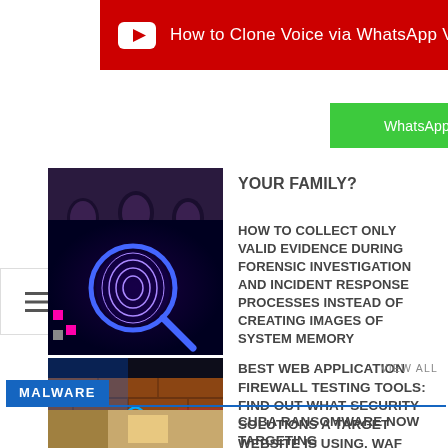[Figure (screenshot): YouTube banner with red background, YouTube play icon, and text 'How to Clone Voice via WhatsApp Voice Message']
[Figure (screenshot): Green WhatsApp Group button]
[Figure (photo): Thumbnail image of people silhouettes]
YOUR FAMILY?
[Figure (illustration): Hamburger menu icon (three horizontal lines)]
[Figure (photo): Thumbnail image of firewall/brick wall with digital effects]
BEST WEB APPLICATION FIREWALL TESTING TOOLS: FIND OUT WHAT SECURITY SOLUTIONS A TARGET WEBSITE IS USING. WAF HACKING
[Figure (photo): Thumbnail image of fingerprint on digital background]
HOW TO COLLECT ONLY VALID EVIDENCE DURING FORENSIC INVESTIGATION AND INCIDENT RESPONSE PROCESSES INSTEAD OF CREATING IMAGES OF SYSTEM MEMORY
VIEW ALL
MALWARE
[Figure (photo): Thumbnail image related to Cuba ransomware]
CUBA RANSOMWARE NOW TARGETING